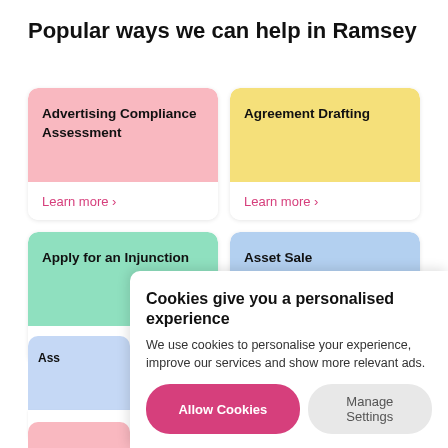Popular ways we can help in Ramsey
Advertising Compliance Assessment — Learn more
Agreement Drafting — Learn more
Apply for an Injunction — Learn more
Asset Sale — Learn more
Ass... — Learn more (partially visible)
Cookies give you a personalised experience
We use cookies to personalise your experience, improve our services and show more relevant ads.
Allow Cookies
Manage Settings